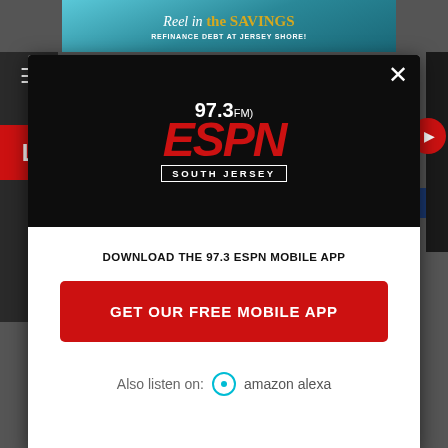[Figure (screenshot): Website screenshot with a modal dialog popup for 97.3 ESPN South Jersey radio station mobile app download prompt. Background shows a webpage with a banner ad reading 'Reel in the SAVINGS - REFINANCE DEBT AT JERSEY SHORE!' at top and bottom. Modal has black top section with 97.3 FM ESPN South Jersey logo, white bottom section with text 'DOWNLOAD THE 97.3 ESPN MOBILE APP', a red button 'GET OUR FREE MOBILE APP', and Amazon Alexa logo with text 'Also listen on: amazon alexa'.]